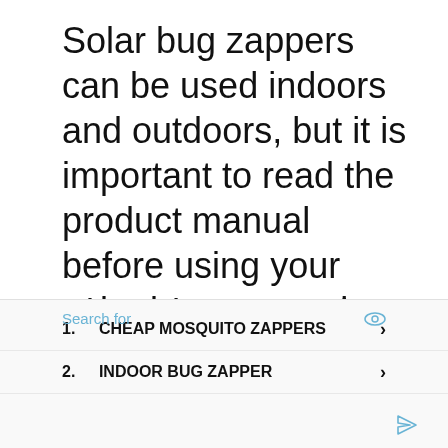Solar bug zappers can be used indoors and outdoors, but it is important to read the product manual before using your solar bug zapper in either location.
Since they are solar-powered, it is the best practice to use them outdoors where they can receive as much sunlight as possible
1. CHEAP MOSQUITO ZAPPERS
2. INDOOR BUG ZAPPER